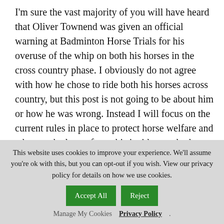I'm sure the vast majority of you will have heard that Oliver Townend was given an official warning at Badminton Horse Trials for his overuse of the whip on both his horses in the cross country phase. I obviously do not agree with how he chose to ride both his horses across country, but this post is not going to be about him or how he was wrong. Instead I will focus on the current rules in place to protect horse welfare and what can be learnt from this incident and other industries.
The current FEI whip rules
My biggest issue with what happened at Badminton was the lack
This website uses cookies to improve your experience. We'll assume you're ok with this, but you can opt-out if you wish. View our privacy policy for details on how we use cookies.